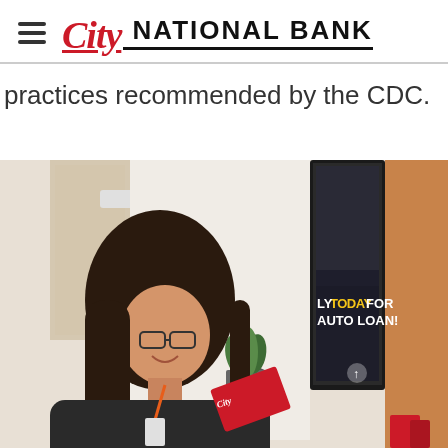[Figure (logo): City National Bank logo with hamburger menu icon on the left, stylized red italic 'City' script text followed by 'NATIONAL BANK' in bold uppercase black letters]
practices recommended by the CDC.
[Figure (photo): A smiling young woman with long dark hair and glasses, holding a red City National Bank brochure/card at a bank branch. Behind her is a TV screen showing a promotional message 'LY TODAY FOR AUTO LOAN!' in yellow and white text. The branch interior shows light wood paneling and a small plant.]